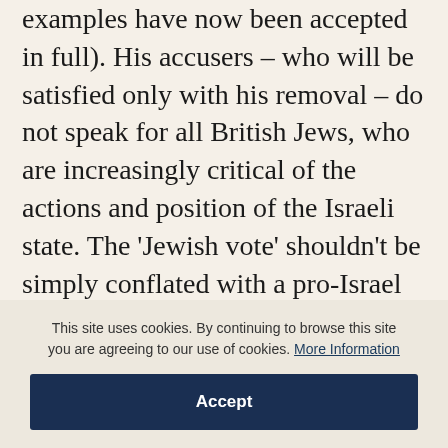examples have now been accepted in full). His accusers – who will be satisfied only with his removal – do not speak for all British Jews, who are increasingly critical of the actions and position of the Israeli state. The 'Jewish vote' shouldn't be simply conflated with a pro-Israel one or treated as fixed. Political 'common sense' has tended to assume a tension between principle and pragmatism – and to counsel in favour of the latter. What this misses – and what Corbyn at his better moments exemplifies – is that the two can
This site uses cookies. By continuing to browse this site you are agreeing to our use of cookies. More Information
Accept